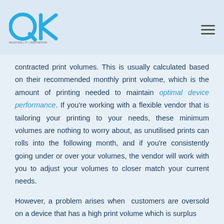QK Communication | IT | Innovation
contracted print volumes. This is usually calculated based on their recommended monthly print volume, which is the amount of printing needed to maintain optimal device performance. If you're working with a flexible vendor that is tailoring your printing to your needs, these minimum volumes are nothing to worry about, as unutilised prints can rolls into the following month, and if you're consistently going under or over your volumes, the vendor will work with you to adjust your volumes to closer match your current needs.
However, a problem arises when customers are oversold on a device that has a high print volume which is surplus